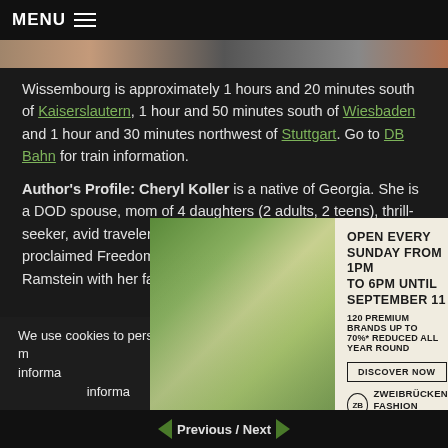MENU
[Figure (photo): Partial photo strip at top of page]
Wissembourg is approximately 1 hours and 20 minutes south of Kaiserslautern, 1 hour and 50 minutes south of Wiesbaden and 1 hour and 30 minutes northwest of Stuttgart. Go to DB Bahn for train information.
Author's Profile: Cheryl Koller is a native of Georgia. She is a DOD spouse, mom of 4 daughters (2 adults, 2 teens), thrill-seeker, avid traveler and lover of food and wine. She is a self-proclaimed Freedom-Prenuer and Blogger currently living in Ramstein with her family.
We use cookies to personalize content and ads, to provide social media features and to analyze our web traffic. We also share information about your use of our site with our social media, advertising and analytics partners. For more information, please see our Privacy Settings.
[Figure (photo): Advertisement: Zweibrücken Fashion Outlet. Open every Sunday from 1PM to 6PM until September 11. 120 premium brands up to 70% reduced all year round. Discover Now.]
Previous / Next navigation